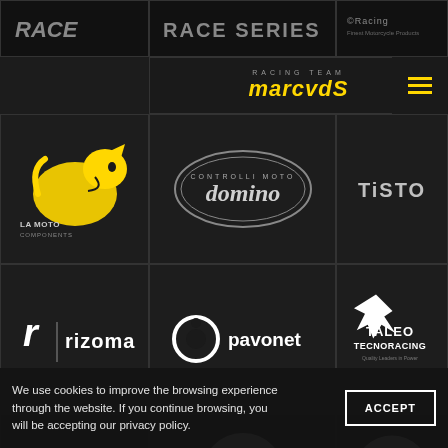[Figure (logo): Partial logo grid row 0 - cropped brand logos]
[Figure (logo): Marc VDS Racing Team logo in yellow italic text]
[Figure (logo): Yellow puma/cat logo with La Moto Components text]
[Figure (logo): Domino components logo in dark oval badge]
[Figure (logo): Tisto logo in gray capital letters]
[Figure (logo): Rizoma logo with stylized r mark]
[Figure (logo): Pavonet logo with circle icon]
[Figure (logo): Taleo Tecnoracing logo with bird figure]
[Figure (logo): Five gloves logo in italic text]
[Figure (logo): Biba logo in white circle badge]
[Figure (logo): Pascuco logo in white circle badge]
We use cookies to improve the browsing experience through the website. If you continue browsing, you will be accepting our privacy policy.
ACCEPT